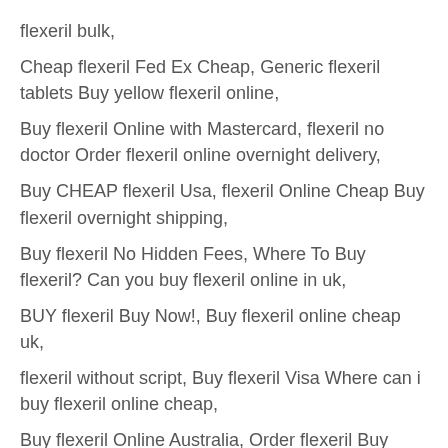flexeril bulk,
Cheap flexeril Fed Ex Cheap, Generic flexeril tablets Buy yellow flexeril online,
Buy flexeril Online with Mastercard, flexeril no doctor Order flexeril online overnight delivery,
Buy CHEAP flexeril Usa, flexeril Online Cheap Buy flexeril overnight shipping,
Buy flexeril No Hidden Fees, Where To Buy flexeril? Can you buy flexeril online in uk,
BUY flexeril Buy Now!, Buy flexeril online cheap uk,
flexeril without script, Buy flexeril Visa Where can i buy flexeril online cheap,
Buy flexeril Online Australia, Order flexeril Buy flexeril online,
flexeril 10 mg Canada,
cheap flexeril 15 mg fast shipping Canada,
order flexeril 10 mg fast shipping italy,